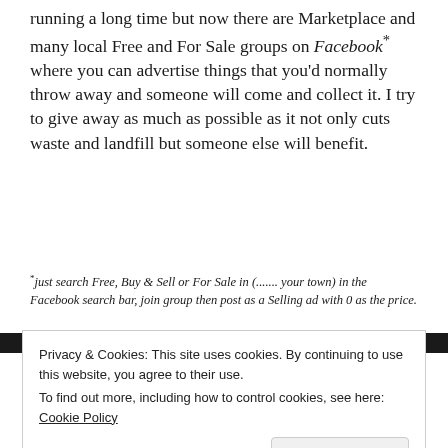running a long time but now there are Marketplace and many local Free and For Sale groups on Facebook* where you can advertise things that you'd normally throw away and someone will come and collect it. I try to give away as much as possible as it not only cuts waste and landfill but someone else will benefit.
* just search Free, Buy & Sell or For Sale in (....... your town) in the Facebook search bar, join group then post as a Selling ad with 0 as the price.
[Figure (screenshot): Dark screenshot strip showing partial text 'SIGNAL' and other interface elements]
Privacy & Cookies: This site uses cookies. By continuing to use this website, you agree to their use.
To find out more, including how to control cookies, see here: Cookie Policy
Close and accept